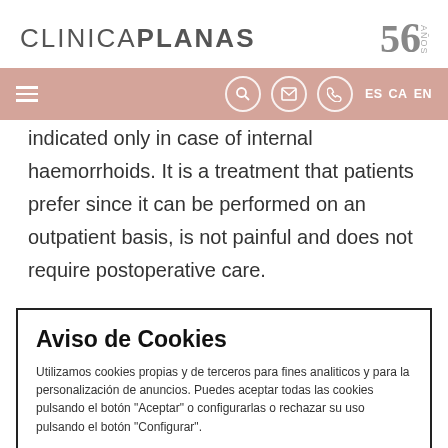CLINICAPLANAS
indicated only in case of internal haemorrhoids. It is a treatment that patients prefer since it can be performed on an outpatient basis, is not painful and does not require postoperative care.
Aviso de Cookies
Utilizamos cookies propias y de terceros para fines analiticos y para la personalización de anuncios. Puedes aceptar todas las cookies pulsando el botón "Aceptar" o configurarlas o rechazar su uso pulsando el botón "Configurar".
CONFIGURAR | ACEPTAR